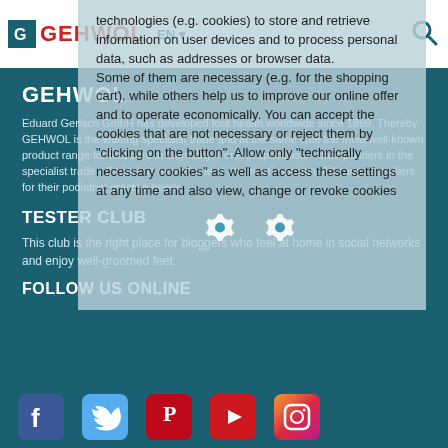GEHWOL EN
technologies (e.g. cookies) to store and retrieve information on user devices and to process personal data, such as addresses or browser data.
Some of them are necessary (e.g. for the shopping cart), while others help us to improve our online offer and to operate economically. You can accept the cookies that are not necessary or reject them by "clicking on the button". Allow only "technically necessary cookies" as well as access these settings at any time and also view, change or revoke cookies
[Figure (infographic): Two gear/settings icons rendered in white, representing cookie settings]
GEHWOL
Eduard Gerlach GmbH has developed foot health worldwide since 1869. Thereby GEHWOL is the leading specialist trade and at the same time the most well-known product range for foot care in Germany. For foot specialists - their partners in the specialist trade - Gerlach is as well one of the most important full-range suppliers for their podiatrist practice needs.
TESTER CLUB
This club is the right place for bloggers who feel at home in social networks and enjoy well-groomed feet.
FOLLOW US ONLINE
[Figure (infographic): Row of social media icons: Facebook, Twitter, Pinterest, YouTube, Instagram]